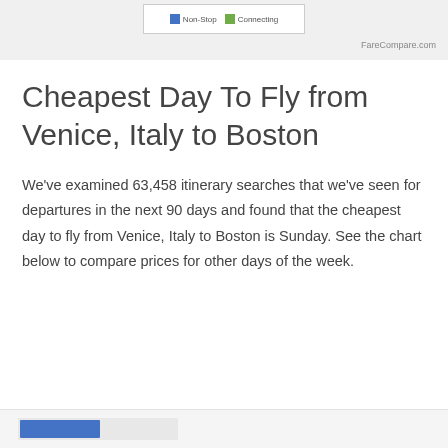FareCompare.com
Cheapest Day To Fly from Venice, Italy to Boston
We've examined 63,458 itinerary searches that we've seen for departures in the next 90 days and found that the cheapest day to fly from Venice, Italy to Boston is Sunday. See the chart below to compare prices for other days of the week.
[Figure (other): Partial view of a bar chart at the bottom of the page]